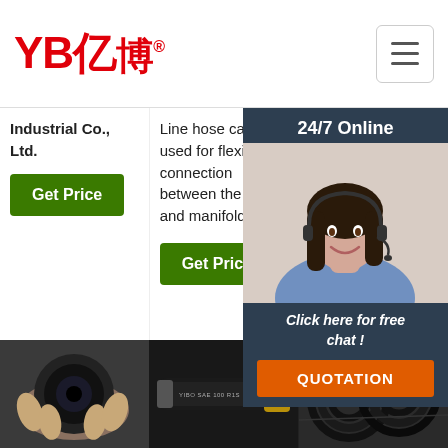YB亿博® Industrial Co., Ltd.
Industrial Co., Ltd.
Line hose can be used for flexible connection between the riser and manifold.
sand/shot blast hose, hose, solvent hose, and vacuum rubber hose, hose, food...
24/7 Online
Click here for free chat !
QUOTATION
[Figure (photo): Hand holding end of black rubber hose]
[Figure (photo): YIBO SAE 100 R1S straight rubber hydraulic hose]
[Figure (photo): Coiled black rubber hoses]
[Figure (infographic): TOP icon with orange dots above]